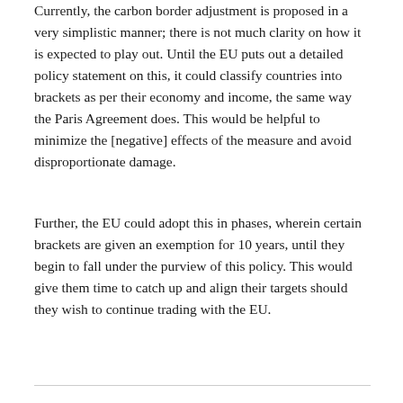Currently, the carbon border adjustment is proposed in a very simplistic manner; there is not much clarity on how it is expected to play out. Until the EU puts out a detailed policy statement on this, it could classify countries into brackets as per their economy and income, the same way the Paris Agreement does. This would be helpful to minimize the [negative] effects of the measure and avoid disproportionate damage.
Further, the EU could adopt this in phases, wherein certain brackets are given an exemption for 10 years, until they begin to fall under the purview of this policy. This would give them time to catch up and align their targets should they wish to continue trading with the EU.